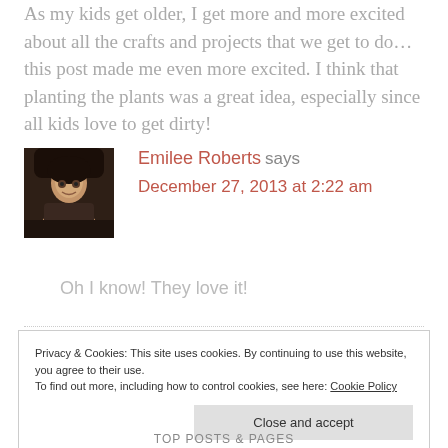As my kids get older, I get more and more excited about all the crafts and projects that we get to do... this post made me even more excited. I think that planting the plants was a great idea, especially since all kids love to get dirty!
[Figure (photo): Profile photo of Emilee Roberts, a woman with dark hair against a dark background.]
Emilee Roberts says
December 27, 2013 at 2:22 am
Oh I know! They love it!
Privacy & Cookies: This site uses cookies. By continuing to use this website, you agree to their use.
To find out more, including how to control cookies, see here: Cookie Policy
Close and accept
TOP POSTS & PAGES